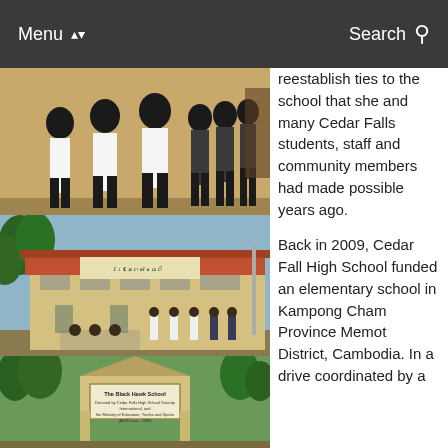Menu | Search
[Figure (photo): Students in white shirts and dark pants walking along a yellow wall outside a school building in Cambodia]
reestablish ties to the school that she and many Cedar Falls students, staff and community members had made possible years ago.
[Figure (photo): A yellow school building with a red tile roof and a sign in Khmer, with students standing outside in Cambodia]
Back in 2009, Cedar Fall High School funded an elementary school in Kampong Cham Province Memot District, Cambodia. In a drive coordinated by a
[Figure (photo): Close-up of a school building entrance with a sign reading 'The Black Hawk School' and details about its construction, surrounded by trees]